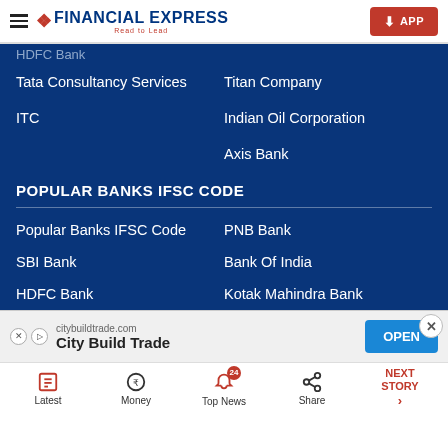Financial Express - Read to Lead | APP
HDFC Bank (partial, clipped)
Titan Company
Tata Consultancy Services
Indian Oil Corporation
ITC
Axis Bank
POPULAR BANKS IFSC CODE
Popular Banks IFSC Code
PNB Bank
SBI Bank
Bank Of India
HDFC Bank
Kotak Mahindra Bank
[Figure (screenshot): Advertisement banner for citybuildtrade.com - City Build Trade with OPEN button]
Latest | Money | Top News 24 | Share | NEXT STORY